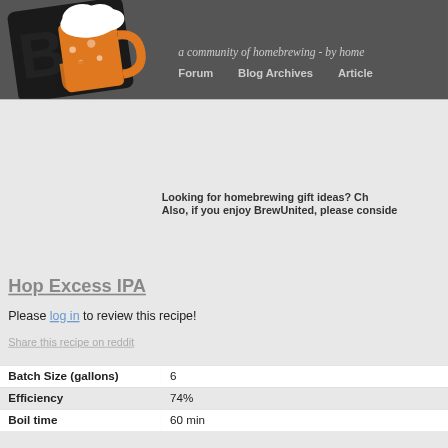a community of homebrewing - by home
Forum   Blog Archives   Article
BREWUNITED
Looking for homebrewing gift ideas? Ch Also, if you enjoy BrewUnited, please conside
Hop Excess IPA
Please log in to review this recipe!
Share this recipe on reddit
| Field | Value |
| --- | --- |
| Batch Size (gallons) | 6 |
| Efficiency | 74% |
| Boil time | 60 min |